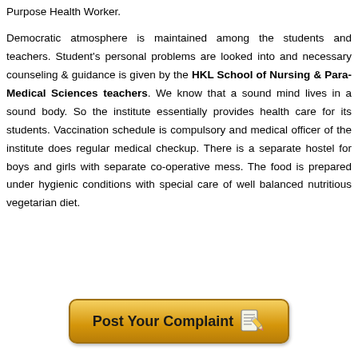Purpose Health Worker.
Democratic atmosphere is maintained among the students and teachers. Student's personal problems are looked into and necessary counseling & guidance is given by the HKL School of Nursing & Para-Medical Sciences teachers. We know that a sound mind lives in a sound body. So the institute essentially provides health care for its students. Vaccination schedule is compulsory and medical officer of the institute does regular medical checkup. There is a separate hostel for boys and girls with separate co-operative mess. The food is prepared under hygienic conditions with special care of well balanced nutritious vegetarian diet.
[Figure (other): Button labeled 'Post Your Complaint' with a notepad and pencil icon, styled with a golden gradient background and rounded corners.]